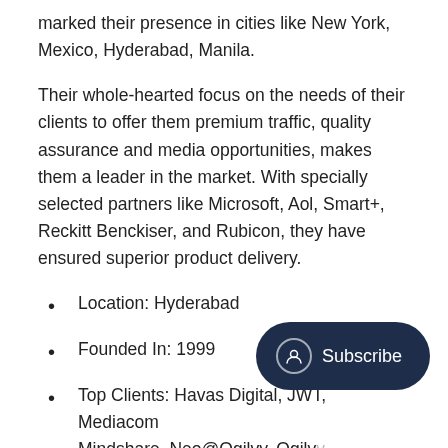marked their presence in cities like New York, Mexico, Hyderabad, Manila.
Their whole-hearted focus on the needs of their clients to offer them premium traffic, quality assurance and media opportunities, makes them a leader in the market. With specially selected partners like Microsoft, Aol, Smart+, Reckitt Benckiser, and Rubicon, they have ensured superior product delivery.
Location: Hyderabad
Founded In: 1999
Top Clients: Havas Digital, JWT, Mediacom, Mindshare, Neo@Ogilvy, Ogilvy, Satchi&Satchi, TBWA, and ZenithOptimedia
Awards: Finalist for Best AD Tech Toolkit